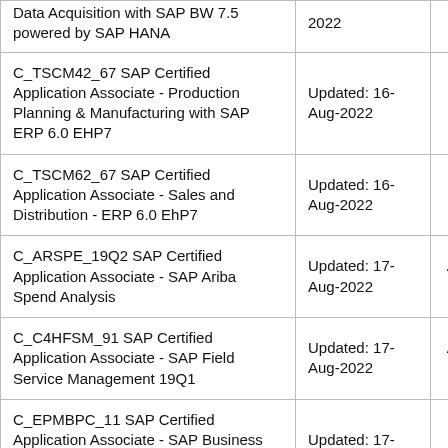| Certification | Updated | Action |
| --- | --- | --- |
| Data Acquisition with SAP BW 7.5 powered by SAP HANA | Updated: 2022 |  |
| C_TSCM42_67 SAP Certified Application Associate - Production Planning & Manufacturing with SAP ERP 6.0 EHP7 | Updated: 16-Aug-2022 | Buy Now |
| C_TSCM62_67 SAP Certified Application Associate - Sales and Distribution - ERP 6.0 EhP7 | Updated: 16-Aug-2022 | Buy Now |
| C_ARSPE_19Q2 SAP Certified Application Associate - SAP Ariba Spend Analysis | Updated: 17-Aug-2022 | Available Soon |
| C_C4HFSM_91 SAP Certified Application Associate - SAP Field Service Management 19Q1 | Updated: 17-Aug-2022 | Available Soon |
| C_EPMBPC_11 SAP Certified Application Associate - SAP Business Planning and Consolidation 10.1 and 11.0 | Updated: 17-Aug-2022 | Buy Now |